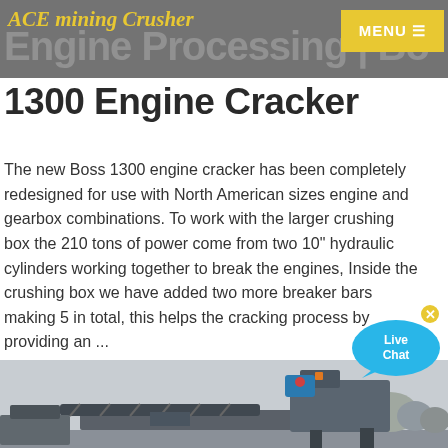ACE mining Crusher | Engine Processing | Bo...
1300 Engine Cracker
The new Boss 1300 engine cracker has been completely redesigned for use with North American sizes engine and gearbox combinations. To work with the larger crushing box the 210 tons of power come from two 10" hydraulic cylinders working together to break the engines, Inside the crushing box we have added two more breaker bars making 5 in total, this helps the cracking process by providing an ...
Contact us
[Figure (photo): Industrial crushing/engine cracking machine on a conveyor system, photographed outdoors]